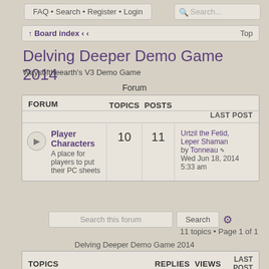FAQ • Search • Register • Login
Board index ‹ ‹    Top
Delving Deeper Demo Game 2014
Waysoftheearth's V3 Demo Game
Forum
| FORUM | TOPICS | POSTS | LAST POST |
| --- | --- | --- | --- |
| Player Characters
A place for players to put their PC sheets | 10 | 11 | Urtzil the Fetid, Leper Shaman
by Tonneau
Wed Jun 18, 2014 5:33 am |
Search this forum    Search  ⚙
11 topics • Page 1 of 1
Delving Deeper Demo Game 2014
| TOPICS | REPLIES | VIEWS | LAST POST |
| --- | --- | --- | --- |